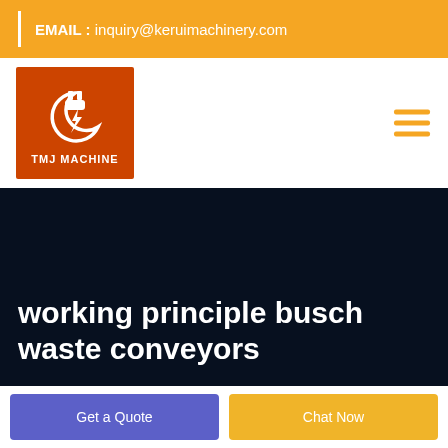EMAIL : inquiry@keruimachinery.com
[Figure (logo): TMJ Machine logo: orange square with white lightning bolt and plug icon, text 'TMJ MACHINE' below]
working principle busch waste conveyors
Get a Quote
Chat Now